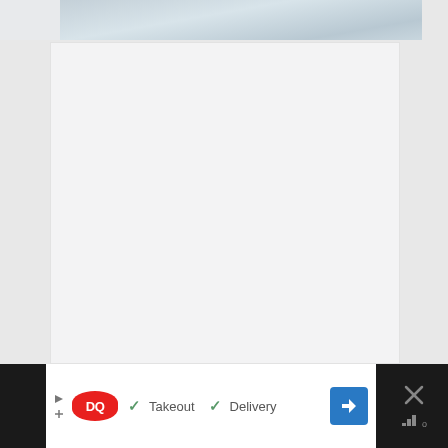[Figure (photo): Partial view of a snowy or icy scene, light blue-gray tones, cropped at the top of the page]
[Figure (other): Large white/light gray content card area, mostly blank, occupying the central portion of the page]
[Figure (other): Dairy Queen advertisement banner at the bottom: DQ logo (red oval), checkmark Takeout, checkmark Delivery, blue navigation arrow button, and a close panel with X icon on the right]